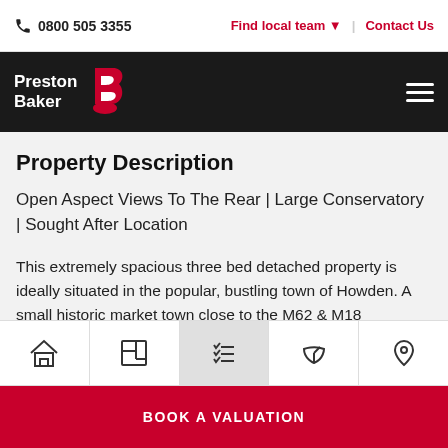0800 505 3355 | Find local team | Contact Us
[Figure (logo): Preston Baker estate agency logo — white text on black background with red 'PB' icon]
Property Description
Open Aspect Views To The Rear | Large Conservatory | Sought After Location
This extremely spacious three bed detached property is ideally situated in the popular, bustling town of Howden. A small historic market town close to the M62 & M18 motorways. The bungalow is close to the beautiful Minster
BOOK A VALUATION